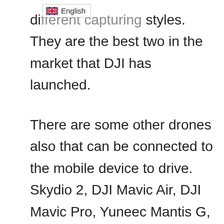different capturing styles. They are the best two in the market that DJI has launched.
There are some other drones also that can be connected to the mobile device to drive. Skydio 2, DJI Mavic Air, DJI Mavic Pro, Yuneec Mantis G, Hubsan X4 H501S pro, Sphero BB-8 are the drones that can be easily controlled via a mobile device.